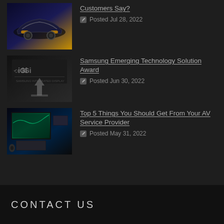Customers Say? | Posted Jul 28, 2022
Samsung Emerging Technology Solution Award | Posted Jun 30, 2022
Top 5 Things You Should Get From Your AV Service Provider | Posted May 31, 2022
CONTACT US